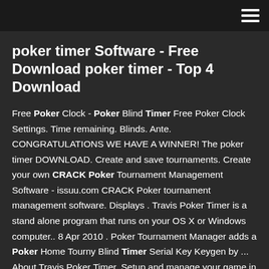hamburger menu icon
poker timer Software - Free Download poker timer - Top 4 Download
Free Poker Clock - Poker Blind Timer Free Poker Clock Settings. Time remaining. Blinds. Ante. CONGRATULATIONS WE HAVE A WINNER! The poker timer DOWNLOAD. Create and save tournaments. Create your own CRACK Poker Tournament Management Software - issuu.com CRACK Poker tournament management software. Displays . Travis Poker Timer is a stand alone program that runs on your OS X or Windows computer.. 8 Apr 2010 . Poker Tournament Manager adds a Poker Home Tourny Blind Timer Serial Key Keygen by ... About Travis Poker Timer. Setup and manage your game in a single, simple menu. Displays round time,